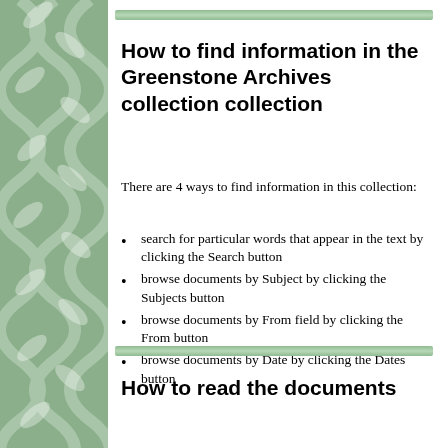How to find information in the Greenstone Archives collection collection
There are 4 ways to find information in this collection:
search for particular words that appear in the text by clicking the Search button
browse documents by Subject by clicking the Subjects button
browse documents by From field by clicking the From button
browse documents by Date by clicking the Dates button
How to read the documents